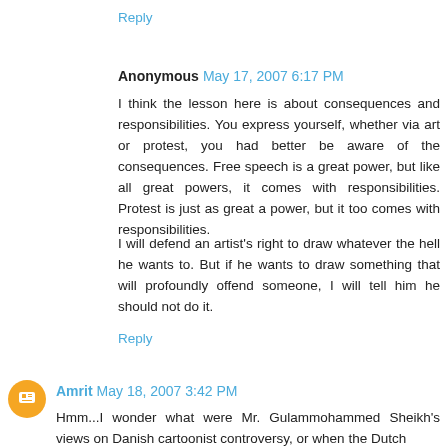Reply
Anonymous May 17, 2007 6:17 PM
I think the lesson here is about consequences and responsibilities. You express yourself, whether via art or protest, you had better be aware of the consequences. Free speech is a great power, but like all great powers, it comes with responsibilities. Protest is just as great a power, but it too comes with responsibilities.
I will defend an artist's right to draw whatever the hell he wants to. But if he wants to draw something that will profoundly offend someone, I will tell him he should not do it.
Reply
Amrit May 18, 2007 3:42 PM
Hmm...I wonder what were Mr. Gulammohammed Sheikh's views on Danish cartoonist controversy, or when the Dutch